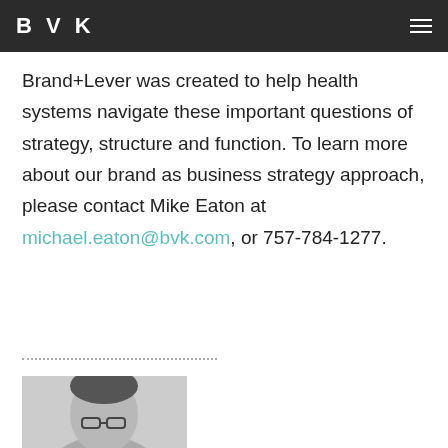BVK
Brand+Lever was created to help health systems navigate these important questions of strategy, structure and function. To learn more about our brand as business strategy approach, please contact Mike Eaton at michael.eaton@bvk.com, or 757-784-1277.
[Figure (photo): Partial black and white headshot photo of a person wearing glasses, cropped at bottom of page]